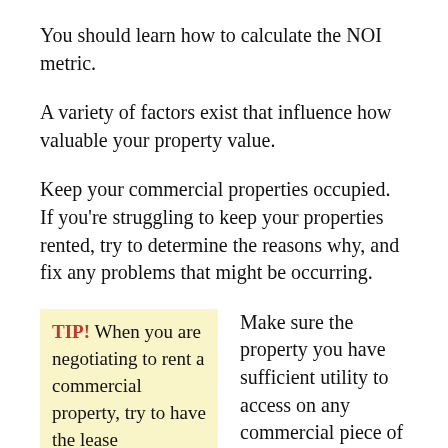You should learn how to calculate the NOI metric.
A variety of factors exist that influence how valuable your property value.
Keep your commercial properties occupied. If you're struggling to keep your properties rented, try to determine the reasons why, and fix any problems that might be occurring.
TIP! When you are negotiating to rent a commercial property, try to have the lease  |  Make sure the property you have sufficient utility to access on any commercial piece of real estate. Your business may have unique